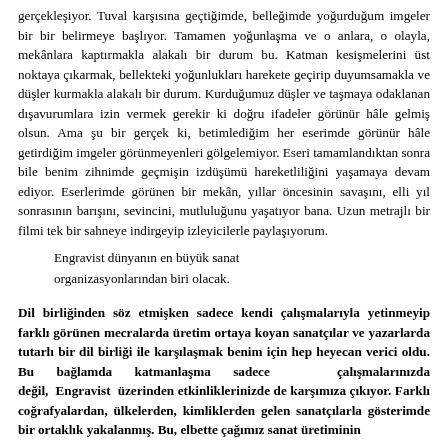gerçekleşiyor. Tuval karşısına geçtiğimde, belleğimde yoğurduğum imgeler bir bir belirmeye başlıyor. Tamamen yoğunlaşma ve o anlara, o olayla, mekânlara kaptırmakla alakalı bir durum bu. Katman kesişmelerini üst noktaya çıkarmak, bellekteki yoğunlukları harekete geçirip duyumsamakla ve düşler kurmakla alakalı bir durum. Kurduğumuz düşler ve taşmaya odaklanan dışavurumlara izin vermek gerekir ki doğru ifadeler görünür hâle gelmiş olsun. Ama şu bir gerçek ki, betimlediğim her eserimde görünür hâle getirdiğim imgeler görünmeyenleri gölgelemiyor. Eseri tamamlandıktan sonra bile benim zihnimde geçmişin izdüşümü hareketliliğini yaşamaya devam ediyor. Eserlerimde görünen bir mekân, yıllar öncesinin savaşını, elli yıl sonrasının barışını, sevincini, mutluluğunu yaşatıyor bana. Uzun metrajlı bir filmi tek bir sahneye indirgeyip izleyicilerle paylaşıyorum.
Engravist dünyanın en büyük sanat organizasyonlarından biri olacak.
Dil birliğinden söz etmişken sadece kendi çalışmalarıyla yetinmeyip farklı görünen mecralarda üretim ortaya koyan sanatçılar ve yazarlarda tutarlı bir dil birliği ile karşılaşmak benim için hep heyecan verici oldu. Bu bağlamda katmanlaşma sadece çalışmalarınızda değil, Engravist üzerinden etkinliklerinizde de karşımıza çıkıyor. Farklı coğrafyalardan, ülkelerden, kimliklerden gelen sanatçılarla gösterimde bir ortaklık yakalanmış. Bu, elbette çağımız sanat üretiminin